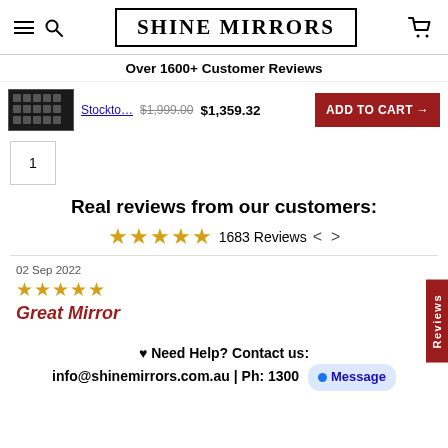SHINE MIRRORS
Over 1600+ Customer Reviews
Stockto... $1,999.00 $1,359.32 ADD TO CART →
1
Real reviews from our customers:
★★★★★ 1683 Reviews < >
02 Sep 2022
★★★★★
Great Mirror
♥ Need Help? Contact us: info@shinemirrors.com.au | Ph: 1300
Message